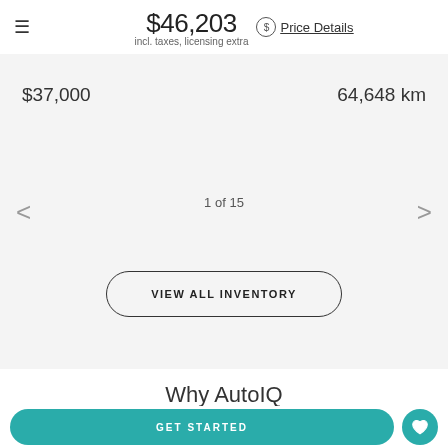$46,203 incl. taxes, licensing extra Price Details
$37,000
64,648 km
1 of 15
VIEW ALL INVENTORY
Why AutoIQ
GET STARTED